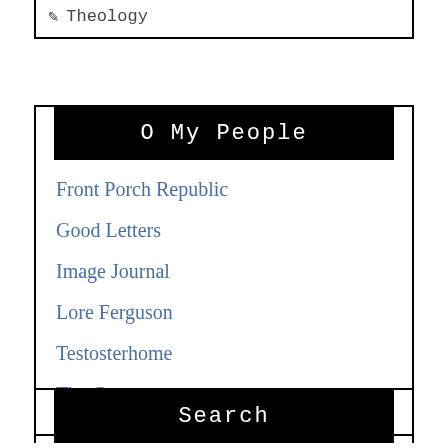Theology
O My People
Front Porch Republic
Good Letters
Image Journal
Lore Ferguson
Testosterhome
The Curator
Search